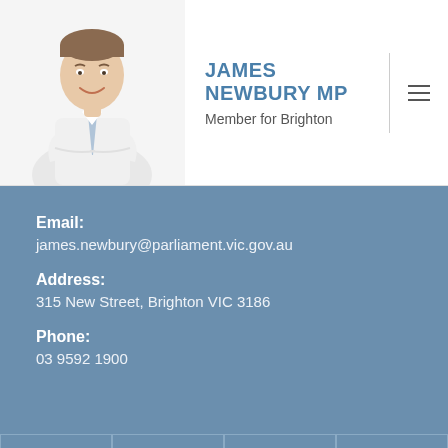[Figure (photo): Photo of James Newbury MP in a white shirt and tie, arms crossed, smiling]
JAMES NEWBURY MP
Member for Brighton
Email:
james.newbury@parliament.vic.gov.au
Address:
315 New Street, Brighton VIC 3186
Phone:
03 9592 1900
[Figure (infographic): Social media icon bar with Facebook, Instagram, Twitter, and email icons]